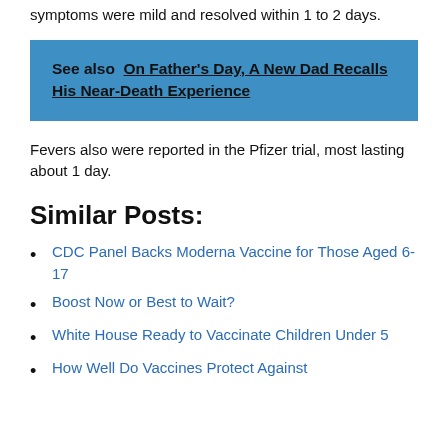symptoms were mild and resolved within 1 to 2 days.
See also  On Father's Day, A New Dad Recalls His Near-Death Experience
Fevers also were reported in the Pfizer trial, most lasting about 1 day.
Similar Posts:
CDC Panel Backs Moderna Vaccine for Those Aged 6-17
Boost Now or Best to Wait?
White House Ready to Vaccinate Children Under 5
How Well Do Vaccines Protect Against